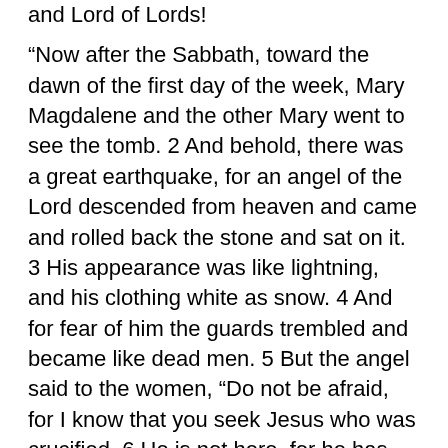and Lord of Lords!
“Now after the Sabbath, toward the dawn of the first day of the week, Mary Magdalene and the other Mary went to see the tomb. 2 And behold, there was a great earthquake, for an angel of the Lord descended from heaven and came and rolled back the stone and sat on it. 3 His appearance was like lightning, and his clothing white as snow. 4 And for fear of him the guards trembled and became like dead men. 5 But the angel said to the women, “Do not be afraid, for I know that you seek Jesus who was crucified. 6 He is not here, for he has risen, as he said. Come, see the place where he[a] lay. 7 Then go quickly and tell his disciples that he has risen from the dead, and behold, he is going before you to Galilee; there you will see him. See, I have told you.” 8 So they departed quickly from the tomb with fear